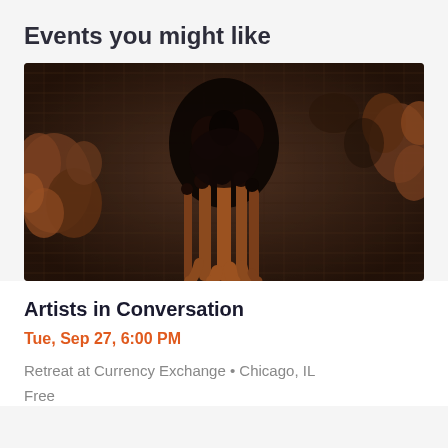Events you might like
[Figure (photo): Close-up photograph of dark woven textile with black knotted fiber details and rust/reddish-brown braided strands hanging down, with organic textured floral elements on the sides]
Artists in Conversation
Tue, Sep 27, 6:00 PM
Retreat at Currency Exchange • Chicago, IL
Free